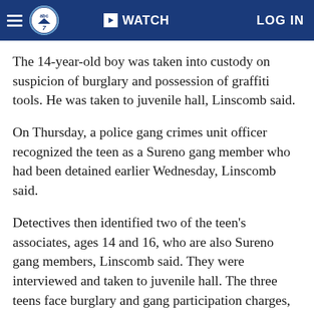abc7 WATCH LOG IN
The 14-year-old boy was taken into custody on suspicion of burglary and possession of graffiti tools. He was taken to juvenile hall, Linscomb said.
On Thursday, a police gang crimes unit officer recognized the teen as a Sureno gang member who had been detained earlier Wednesday, Linscomb said.
Detectives then identified two of the teen's associates, ages 14 and 16, who are also Sureno gang members, Linscomb said. They were interviewed and taken to juvenile hall. The three teens face burglary and gang participation charges, he said.
Police believe the teens were knocking on doors in the Bethards Drive neighborhood in search of an unoccupied